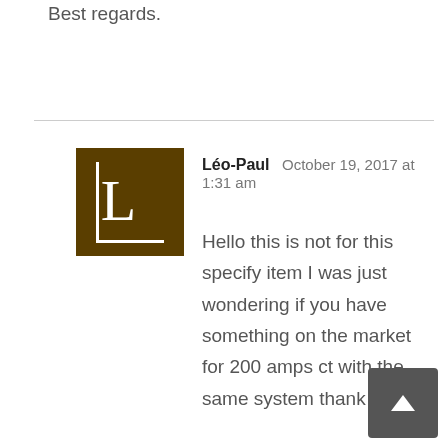Best regards.
Léo-Paul  October 19, 2017 at 1:31 am
Hello this is not for this specify item I was just wondering if you have something on the market for 200 amps ct with the same system thank you